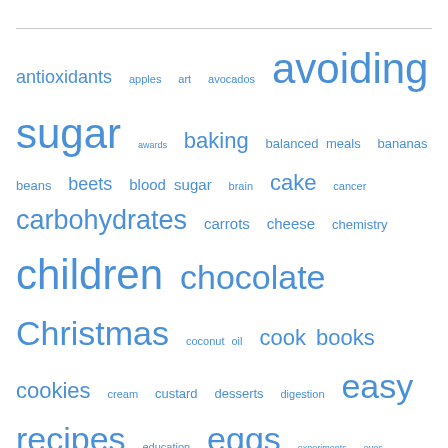[Figure (infographic): Tag cloud with words related to food, nutrition, recipes, and health topics. Words are displayed in varying sizes in blue color indicating relative frequency/importance. Larger words include: avoiding sugar, children, chocolate, Christmas, easy recipes, family, fiber, nutrition, presentation, reviews. Smaller words include: antioxidants, apples, art, avocados, awards, baking, balanced meals, bananas, beans, beets, blood sugar, brain, cake, cancer, carbohydrates, carrots, cheese, chemistry, coconut oil, cook books, cookies, cream, custard, desserts, digestion, education, eggs, experiments, eyes, fats, feedback, fish, fruit, ginger, gluten free, goat cheese, gourmet, halloween, heart, humor, immunity, kale, leafy vegetables, lemons, meat, minerals, mood, mushrooms, nuts, play, potatoes, protein, seeds, spices, Stevia, sugar, sweet potatoes.]